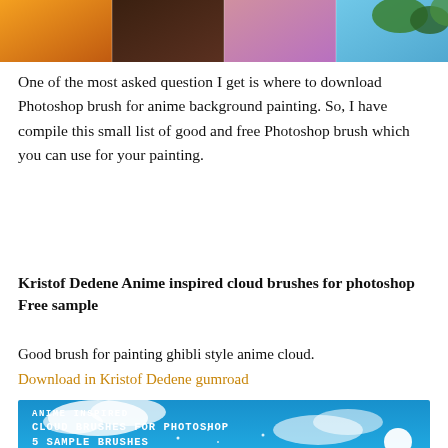[Figure (illustration): A horizontal banner image showing four panels: orange/warm tones, dark brownish sky, soft pink/purple sky, and a blue sky with green trees.]
One of the most asked question I get is where to download Photoshop brush for anime background painting. So, I have compile this small list of good and free Photoshop brush which you can use for your painting.
Kristof Dedene Anime inspired cloud brushes for photoshop Free sample
Good brush for painting ghibli style anime cloud.
Download in Kristof Dedene gumroad
[Figure (illustration): A promotional image with a blue sky background showing white clouds. Text reads: ANIME INSPIRED / CLOUD BRUSHES FOR PHOTOSHOP / 5 SAMPLE BRUSHES in white bold pixel-style font.]